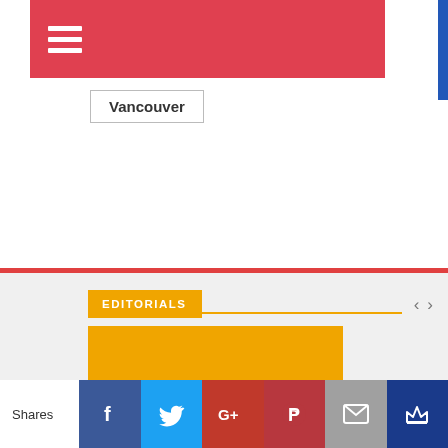[Figure (screenshot): Red navigation bar with hamburger menu icon (three white horizontal lines)]
Vancouver
[Figure (screenshot): Editorials section header with orange tab label, orange underline, and left/right navigation arrows, followed by an orange image block]
Shares | Facebook | Twitter | Google+ | Pinterest | Email | Crown